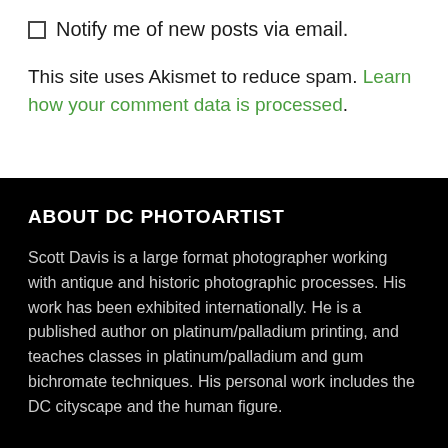Notify me of new posts via email.
This site uses Akismet to reduce spam. Learn how your comment data is processed.
ABOUT DC PHOTOARTIST
Scott Davis is a large format photographer working with antique and historic photographic processes. His work has been exhibited internationally. He is a published author on platinum/palladium printing, and teaches classes in platinum/palladium and gum bichromate techniques. His personal work includes the DC cityscape and the human figure.
SEARCH THIS BLOG